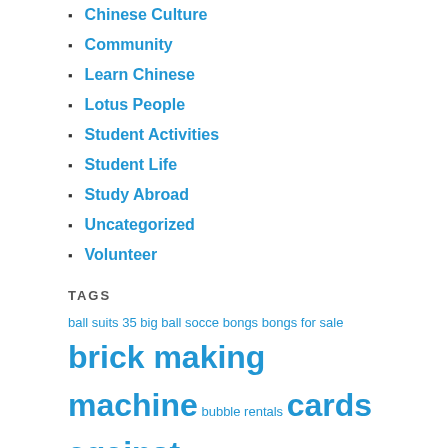Chinese Culture
Community
Learn Chinese
Lotus People
Student Activities
Student Life
Study Abroad
Uncategorized
Volunteer
TAGS
ball suits 35 big ball socce bongs bongs for sale brick making machine bubble rentals cards against cheap glass bo cheap mlb jerseys cheap nfl jerseys chinese culture chinese history chinese holidays community Concrete Mixer Concrete Pump